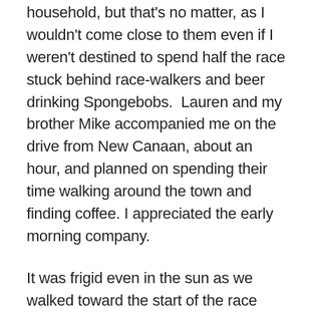household, but that's no matter, as I wouldn't come close to them even if I weren't destined to spend half the race stuck behind race-walkers and beer drinking Spongebobs.  Lauren and my brother Mike accompanied me on the drive from New Canaan, about an hour, and planned on spending their time walking around the town and finding coffee. I appreciated the early morning company.
It was frigid even in the sun as we walked toward the start of the race along the main street in Manchester, and I began to envy Mike and Lauren and their coffee adventure.  We stood around for a while in the cold, an unfortunate side effect to showing up early, which itself was an unfortunate side effect to reading running blogs that say the traffic is awful.  It probably would have been